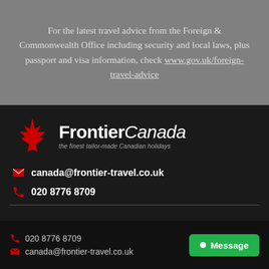For the latest travel advice from the Foreign & Commonwealth Office including security and local laws, plus passport and visa information, check www.gov.uk/foreign-travel-advice
[Figure (logo): Frontier Canada logo with red maple leaf and brand name 'FrontierCanada' and tagline 'the finest tailor-made Canadian holidays']
canada@frontier-travel.co.uk
020 8776 8709
020 8776 8709
canada@frontier-travel.co.uk
Message